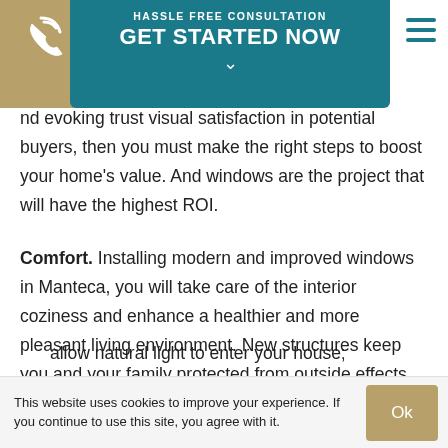[Figure (screenshot): Website header with teal CTA box reading 'HASSLE FREE CONSULTATION / GET STARTED NOW' with a chevron, a gold/tan triangle background on left with a phone icon, and a teal hamburger menu icon on the right.]
...and evoking trust visual satisfaction in potential buyers, then you must make the right steps to boost your home's value. And windows are the project that will have the highest ROI.
Comfort. Installing modern and improved windows in Manteca, you will take care of the interior coziness and enhance a healthier and more pleasant living environment. New structures keep you and your family protected from outside effects, such as excessive moisture or intrusive street noise, at the same time, bringing even more benefits:
allow natural light to enter your house;
This website uses cookies to improve your experience. If you continue to use this site, you agree with it.